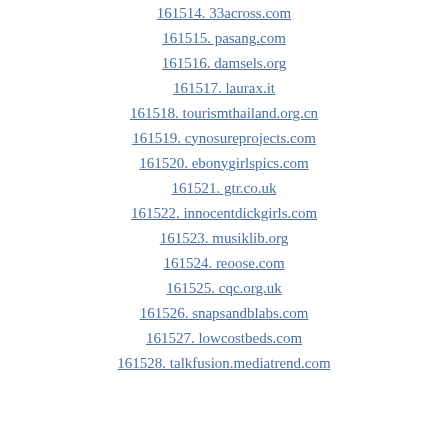161514. 33across.com
161515. pasang.com
161516. damsels.org
161517. laurax.it
161518. tourismthailand.org.cn
161519. cynosureprojects.com
161520. ebonygirlspics.com
161521. gtr.co.uk
161522. innocentdickgirls.com
161523. musiklib.org
161524. reoose.com
161525. cqc.org.uk
161526. snapsandblabs.com
161527. lowcostbeds.com
161528. talkfusion.mediatrend.com